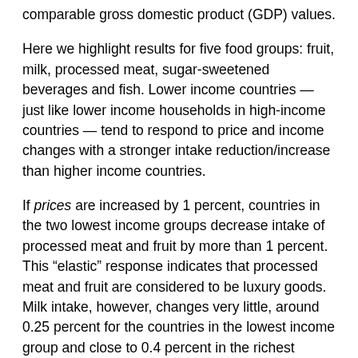comparable gross domestic product (GDP) values.
Here we highlight results for five food groups: fruit, milk, processed meat, sugar-sweetened beverages and fish. Lower income countries — just like lower income households in high-income countries — tend to respond to price and income changes with a stronger intake reduction/increase than higher income countries.
If prices are increased by 1 percent, countries in the two lowest income groups decrease intake of processed meat and fruit by more than 1 percent. This “elastic” response indicates that processed meat and fruit are considered to be luxury goods. Milk intake, however, changes very little, around 0.25 percent for the countries in the lowest income group and close to 0.4 percent in the richest countries. This low, “inelastic” response rate indicates that milk is a necessity.